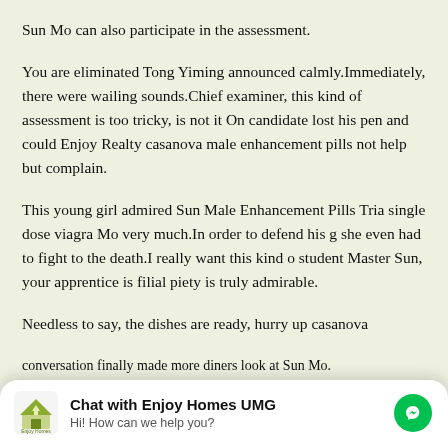Sun Mo can also participate in the assessment.
You are eliminated Tong Yiming announced calmly.Immediately, there were wailing sounds.Chief examiner, this kind of assessment is too tricky, is not it One candidate lost his pen and could Enjoy Realty casanova male enhancement pills not help but complain.
This young girl admired Sun Male Enhancement Pills Trial single dose viagra Mo very much.In order to defend his glory, she even had to fight to the death.I really want this kind of student Master Sun, your apprentice is filial piety is truly admirable.
Needless to say, the dishes are ready, hurry up casanova
[Figure (screenshot): Chat widget overlay at bottom of page showing 'Chat with Enjoy Homes UMG' with messenger icon and 'Hi! How can we help you?' subtitle]
conversation finally made more diners look at Sun Mo.